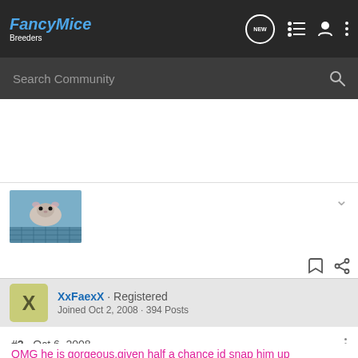FancyMice Breeders
Search Community
[Figure (photo): Thumbnail photo of a hairless mouse on a blue surface]
XxFaexX · Registered
Joined Oct 2, 2008 · 394 Posts
#2 · Oct 6, 2008
OMG he is gorgeous,given half a chance id snap him up